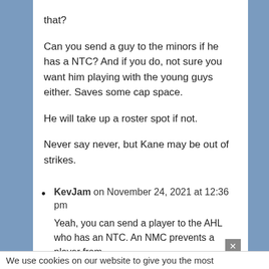that? Can you send a guy to the minors if he has a NTC? And if you do, not sure you want him playing with the young guys either. Saves some cap space.
He will take up a roster spot if not.
Never say never, but Kane may be out of strikes.
KevJam on November 24, 2021 at 12:36 pm — Yeah, you can send a player to the AHL who has an NTC. An NMC prevents a player from
We use cookies on our website to give you the most